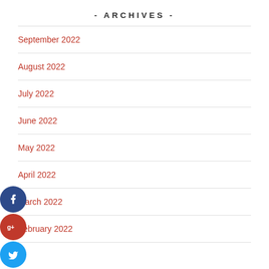- ARCHIVES -
September 2022
August 2022
July 2022
June 2022
May 2022
April 2022
March 2022
February 2022
[Figure (infographic): Social share buttons: Facebook (dark blue circle with f), Google+ (red circle with g+), Twitter (light blue circle with bird), add/more button (dark navy circle with +)]